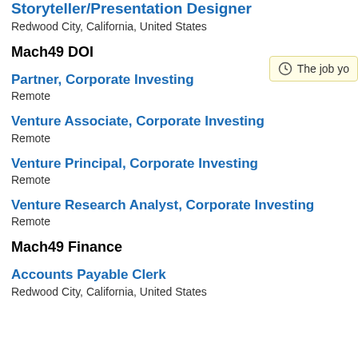Storyteller/Presentation Designer
Redwood City, California, United States
Mach49 DOI
Partner, Corporate Investing
Remote
Venture Associate, Corporate Investing
Remote
Venture Principal, Corporate Investing
Remote
Venture Research Analyst, Corporate Investing
Remote
Mach49 Finance
Accounts Payable Clerk
Redwood City, California, United States